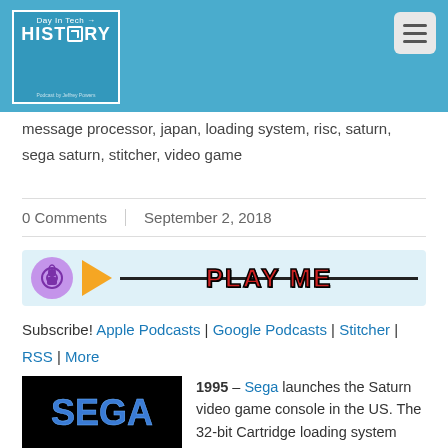[Figure (logo): Day In Tech HISTORY podcast logo in blue box with white border]
message processor, japan, loading system, risc, saturn, sega saturn, stitcher, video game
0 Comments | September 2, 2018
[Figure (other): Podcast audio player bar with play button and PLAY ME text]
Subscribe! Apple Podcasts | Google Podcasts | Stitcher | RSS | More
[Figure (photo): SEGA logo on black background]
1995 – Sega launches the Saturn video game console in the US. The 32-bit Cartridge loading system contained the 2 x